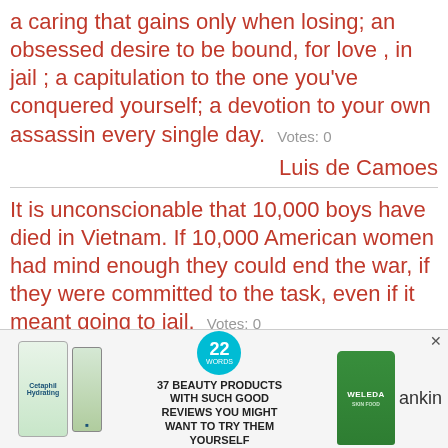a caring that gains only when losing; an obsessed desire to be bound, for love , in jail ; a capitulation to the one you've conquered yourself; a devotion to your own assassin every single day.   Votes: 0
Luis de Camoes
It is unconscionable that 10,000 boys have died in Vietnam. If 10,000 American women had mind enough they could end the war, if they were committed to the task, even if it meant going to jail.   Votes: 0
[Figure (advertisement): Advertisement banner showing Cetaphil skincare products on the left, a circular teal badge with '22' and '37 BEAUTY PRODUCTS WITH SUCH GOOD REVIEWS YOU MIGHT WANT TO TRY THEM YOURSELF' in the center, and a Weleda green tube product on the right with an 'X' close button and partial text 'ankin']